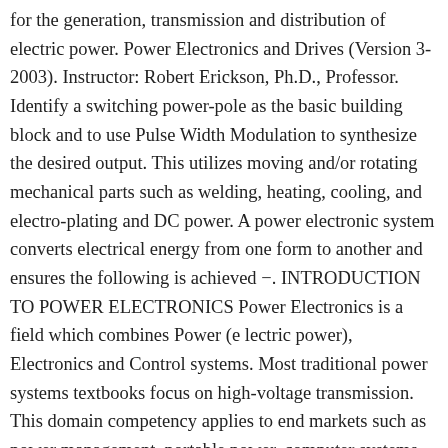for the generation, transmission and distribution of electric power. Power Electronics and Drives (Version 3-2003). Instructor: Robert Erickson, Ph.D., Professor. Identify a switching power-pole as the basic building block and to use Pulse Width Modulation to synthesize the desired output. This utilizes moving and/or rotating mechanical parts such as welding, heating, cooling, and electro-plating and DC power. A power electronic system converts electrical energy from one form to another and ensures the following is achieved −. INTRODUCTION TO POWER ELECTRONICS Power Electronics is a field which combines Power (e lectric power), Electronics and Control systems. Most traditional power systems textbooks focus on high-voltage transmission. This domain competency applies to end markets such as power management, portable power, computer systems, medical applications, spacecraft power systems, the automotive industry, renewable energy and the utilities. ... A fascinating, easy-to-understand introduction to the development of